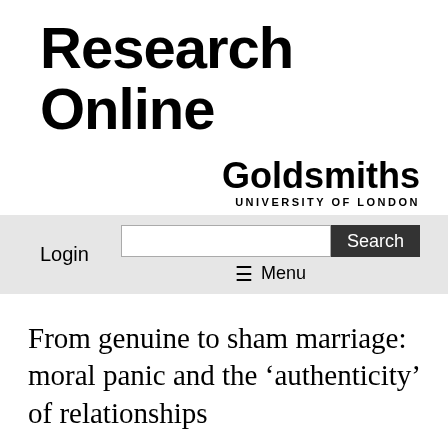Research Online
[Figure (logo): Goldsmiths University of London logo with text 'Goldsmiths' and 'UNIVERSITY OF LONDON']
Login
Search
≡ Menu
From genuine to sham marriage: moral panic and the 'authenticity' of relationships